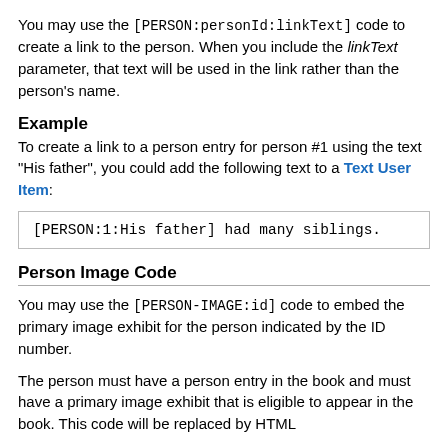You may use the [PERSON:personId:linkText] code to create a link to the person. When you include the linkText parameter, that text will be used in the link rather than the person's name.
Example
To create a link to a person entry for person #1 using the text "His father", you could add the following text to a Text User Item:
[PERSON:1:His father] had many siblings.
Person Image Code
You may use the [PERSON-IMAGE:id] code to embed the primary image exhibit for the person indicated by the ID number.
The person must have a person entry in the book and must have a primary image exhibit that is eligible to appear in the book. This code will be replaced by HTML